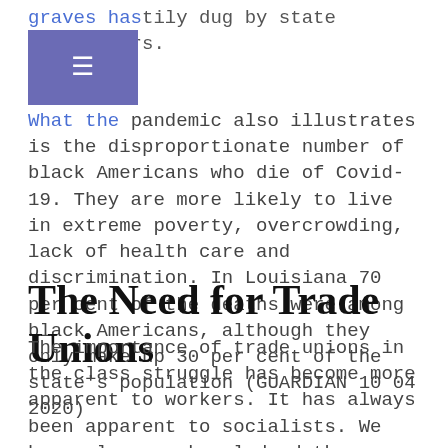graves hastily dug by state contractors.
What the pandemic also illustrates is the disproportionate number of black Americans who die of Covid-19. They are more likely to live in extreme poverty, overcrowding, lack of health care and discrimination. In Louisiana 70 per cent of the deaths were among black Americans, although they only make up 30 per cent of the state's population (GUARDIAN 10 04 2020)
The Need for Trade Unions
The importance of trade unions in the class struggle has become more apparent to workers. It has always been apparent to socialists. We have always acknowledged the usefulness of trade unions to protect, as best they can, their members from the extent and intensity of class